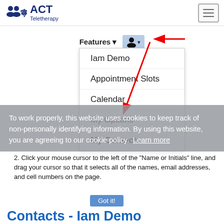[Figure (screenshot): ACT Teletherapy website navigation bar with logo on left, hamburger menu on right]
[Figure (screenshot): Website navigation showing Features dropdown menu with items: Iam Demo, Appointment Slots, Calendar, My Options, My Contacts. Red arrows point to user icon and My Contacts. A user icon with blue highlight is visible next to Features button.]
To work properly, this website uses cookies to keep track of non-personally identifying information. By using this website, you are agreeing to our cookie policy. Learn more
2. Click your mouse cursor to the left of the "Name or Initials" line, and drag your cursor so that it selects all of the names, email addresses, and cell numbers on the page.
Contacts - Iam Demo